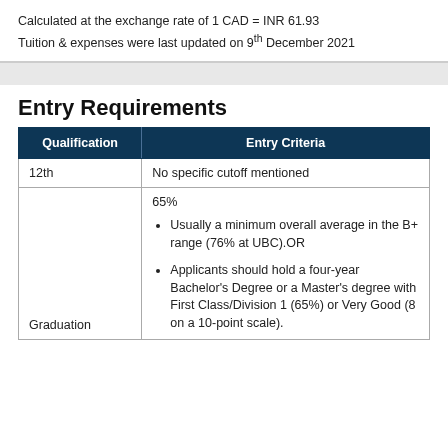Calculated at the exchange rate of 1 CAD = INR 61.93
Tuition & expenses were last updated on 9th December 2021
Entry Requirements
| Qualification | Entry Criteria |
| --- | --- |
| 12th | No specific cutoff mentioned |
| Graduation | 65%
• Usually a minimum overall average in the B+ range (76% at UBC).OR
• Applicants should hold a four-year Bachelor's Degree or a Master's degree with First Class/Division 1 (65%) or Very Good (8 on a 10-point scale). |